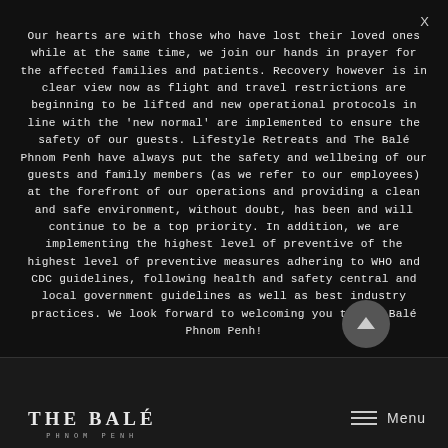X
Our hearts are with those who have lost their loved ones while at the same time, we join our hands in prayer for the affected families and patients. Recovery however is in clear view now as flight and travel restrictions are beginning to be lifted and new operational protocols in line with the 'new normal' are implemented to ensure the safety of our guests. Lifestyle Retreats and The Balé Phnom Penh have always put the safety and wellbeing of our guests and family members (as we refer to our employees) at the forefront of our operations and providing a clean and safe environment, without doubt, has been and will continue to be a top priority. In addition, we are implementing the highest level of preventive of the highest level of preventive measures adhering to WHO and CDC guidelines, following health and safety central and local government guidelines as well as best industry practices. We look forward to welcoming you to The Balé Phnom Penh!
THE BALÉ | Menu